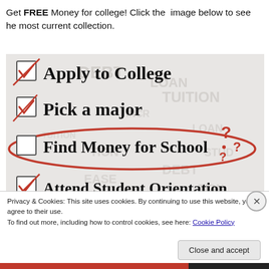Get FREE Money for college! Click the image below to see he most current collection.
[Figure (photo): Checklist image showing: Apply to College (checked), Pick a major (checked), Find Money for School (unchecked, circled in red), Attend Student Orientation (checked). Background has word-cloud of terms like DEBT, LOAN, TUITION, INCREASE with red question marks.]
Privacy & Cookies: This site uses cookies. By continuing to use this website, you agree to their use.
To find out more, including how to control cookies, see here: Cookie Policy
Close and accept